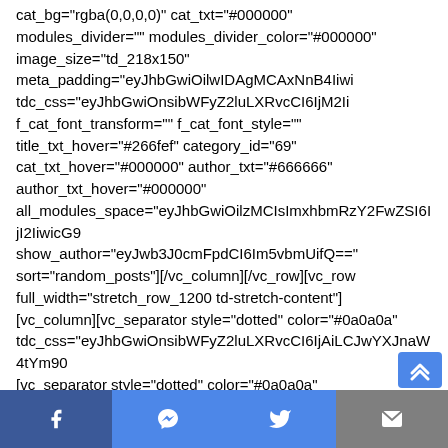cat_bg="rgba(0,0,0,0)" cat_txt="#000000" modules_divider="" modules_divider_color="#000000" image_size="td_218x150" meta_padding="eyJhbGwiOilwIDAgMCAxNnB4IiwicG9ydHJhaXQiOiIwIDAgMCAxMnB4In0=" tdc_css="eyJhbGwiOnsibWFyZ2luLXRvcCI6IjM2IiwibWFyZ2luLWJvdHRvbSI6IjAiLCJkaXNwbGF5IjoiIn19" f_cat_font_transform="" f_cat_font_style="" title_txt_hover="#266fef" category_id="69" cat_txt_hover="#000000" author_txt="#666666" author_txt_hover="#000000" all_modules_space="eyJhbGwiOilzMCIsImxhbmRzY2FwZSI6IjI2IiwicG9ydHJhaXQiOiIyMCJ9" show_author="eyJwb3J0cmFpdCI6Im5vbmUifQ==" sort="random_posts"][/vc_column][/vc_row][vc_row full_width="stretch_row_1200 td-stretch-content"] [vc_column][vc_separator style="dotted" color="#0a0a0a" tdc_css="eyJhbGwiOnsibWFyZ2luLXRvcCI6IjAiLCJtYXJnaW4tYm90dG9tIjoiMCIsImJvcmRlci10b3Atd2lkdGgiOiIxIiwiZGlzcGxheSI6IiJ9fQ=="] [vc_separator style="dotted" color="#0a0a0a"